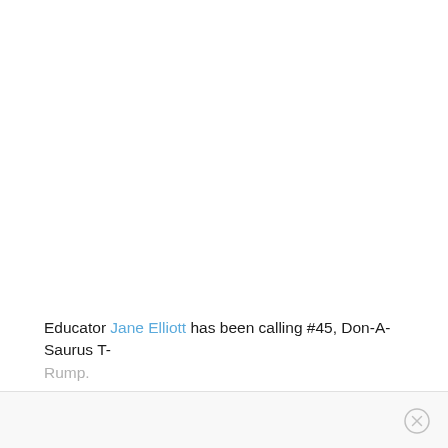Educator Jane Elliott has been calling #45, Don-A-Saurus T-Rump.